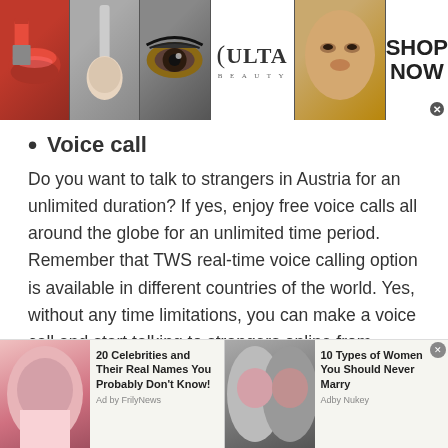[Figure (other): Ulta Beauty advertisement banner with makeup images (lips, brush, eye), Ulta Beauty logo, face image, and SHOP NOW button with close X]
Voice call
Do you want to talk to strangers in Austria for an unlimited duration? If yes, enjoy free voice calls all around the globe for an unlimited time period. Remember that TWS real-time voice calling option is available in different countries of the world. Yes, without any time limitations, you can make a voice call and start talking to strangers online from different cultures, backgrounds and nationalities. In addition, if you are worried about your privacy, then
[Figure (other): Bottom advertisement strip with two ads: '20 Celebrities and Their Real Names You Probably Don't Know! - Ad by FrilyNews' and '10 Types of Women You Should Never Marry - Adby Nukey']